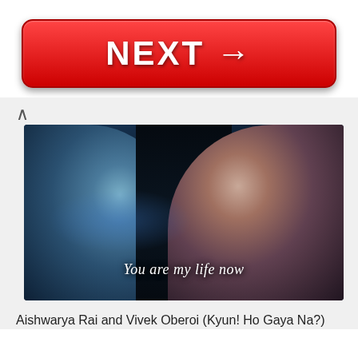[Figure (other): Red NEXT button with right arrow]
[Figure (photo): Movie scene showing two actors close together with subtitle 'You are my life now' overlaid on a dark blue-toned cinematic still]
Aishwarya Rai and Vivek Oberoi (Kyun! Ho Gaya Na?)